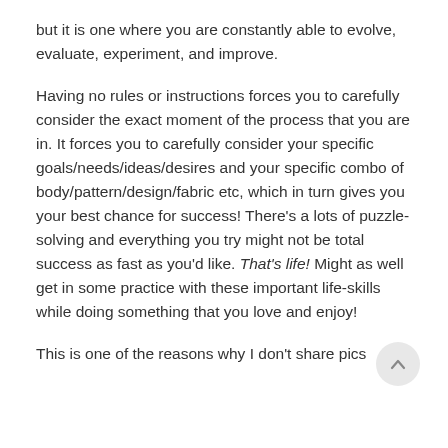but it is one where you are constantly able to evolve, evaluate, experiment, and improve.
Having no rules or instructions forces you to carefully consider the exact moment of the process that you are in. It forces you to carefully consider your specific goals/needs/ideas/desires and your specific combo of body/pattern/design/fabric etc, which in turn gives you your best chance for success! There's a lots of puzzle-solving and everything you try might not be total success as fast as you'd like. That's life! Might as well get in some practice with these important life-skills while doing something that you love and enjoy!
This is one of the reasons why I don't share pics